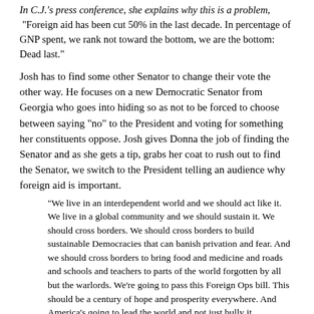In C.J.'s press conference, she explains why this is a problem, "Foreign aid has been cut 50% in the last decade. In percentage of GNP spent, we rank not toward the bottom, we are the bottom: Dead last."
Josh has to find some other Senator to change their vote the other way. He focuses on a new Democratic Senator from Georgia who goes into hiding so as not to be forced to choose between saying "no" to the President and voting for something her constituents oppose. Josh gives Donna the job of finding the Senator and as she gets a tip, grabs her coat to rush out to find the Senator, we switch to the President telling an audience why foreign aid is important.
"We live in an interdependent world and we should act like it. We live in a global community and we should sustain it. We should cross borders. We should cross borders to build sustainable Democracies that can banish privation and fear. And we should cross borders to bring food and medicine and roads and schools and teachers to parts of the world forgotten by all but the warlords. We're going to pass this Foreign Ops bill. This should be a century of hope and prosperity everywhere. And America's going to lead the world and not just bully it.
While everyone else is trying to save the world from hunger, Charlie gets involved with a plea for help from a private in the Army whose family is on food stamps. When Zoey's new French boyfriend makes fun of Charlie being "powerless to help", Charlie gets further involved than he planned to.